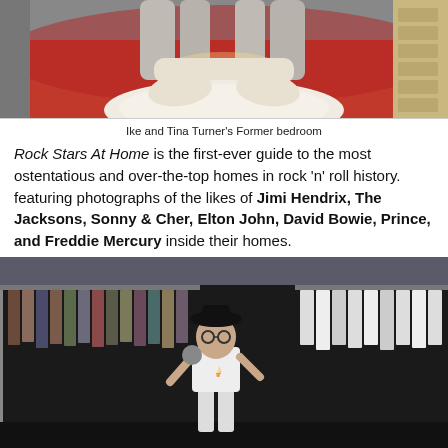[Figure (photo): Color photo of Ike and Tina Turner's former bedroom with red carpet/flooring, white round bed with pillows, curtains, and wood dresser on the right]
Ike and Tina Turner's Former bedroom
Rock Stars At Home is the first-ever guide to the most ostentatious and over-the-top homes in rock 'n' roll history. featuring photographs of the likes of Jimi Hendrix, The Jacksons, Sonny & Cher, Elton John, David Bowie, Prince, and Freddie Mercury inside their homes.
[Figure (photo): Black and white photo of a person standing in a large walk-in closet surrounded by racks of hanging clothes on both sides]